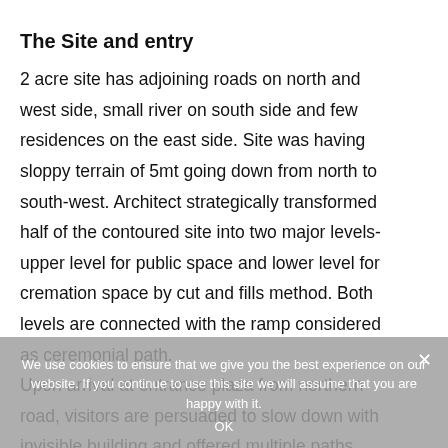The Site and entry
2 acre site has adjoining roads on north and west side, small river on south side and few residences on the east side. Site was having sloppy terrain of 5mt going down from north to south-west. Architect strategically transformed half of the contoured site into two major levels- upper level for public space and lower level for cremation space by cut and fills method. Both levels are connected with the ramp considered as ceremonial path.
Upon arrival at entrance plaza from northern road, visitors are persuaded to slow down with invisible building and offered multiple paths. However, partly visible chimney and golden trident sparks the curiosity. A driveway ramp on west side leads down to